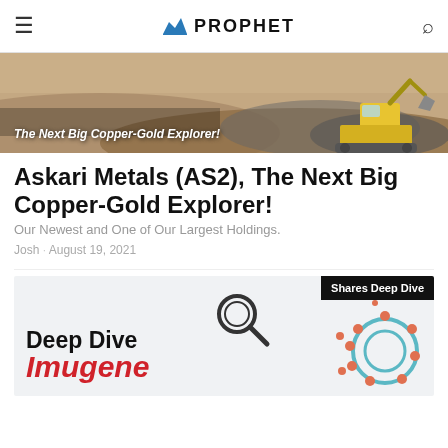PROPHET
[Figure (photo): Mining excavator at a copper-gold mine site with banner text 'The Next Big Copper-Gold Explorer!']
Askari Metals (AS2), The Next Big Copper-Gold Explorer!
Our Newest and One of Our Largest Holdings.
Josh · August 19, 2021
[Figure (illustration): Deep Dive Imugene card with magnifying glass icon and germ/virus illustration, tagged 'Shares Deep Dive']